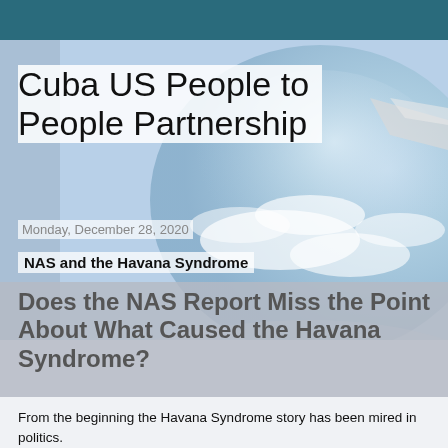Cuba US People to People Partnership
Monday, December 28, 2020
NAS and the Havana Syndrome
Does the NAS Report Miss the Point About What Caused the Havana Syndrome?
From the beginning the Havana Syndrome story has been mired in politics.